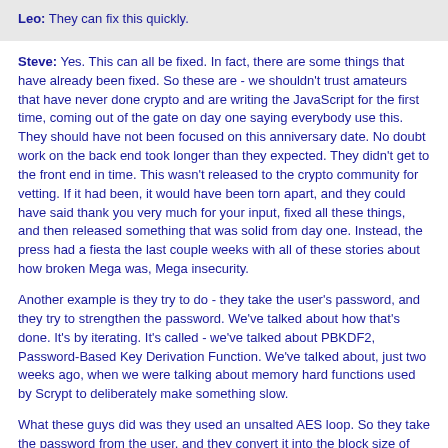Leo: They can fix this quickly.
Steve: Yes. This can all be fixed. In fact, there are some things that have already been fixed. So these are - we shouldn't trust amateurs that have never done crypto and are writing the JavaScript for the first time, coming out of the gate on day one saying everybody use this. They should have not been focused on this anniversary date. No doubt work on the back end took longer than they expected. They didn't get to the front end in time. This wasn't released to the crypto community for vetting. If it had been, it would have been torn apart, and they could have said thank you very much for your input, fixed all these things, and then released something that was solid from day one. Instead, the press had a fiesta the last couple weeks with all of these stories about how broken Mega was, Mega insecurity.
Another example is they try to do - they take the user's password, and they try to strengthen the password. We've talked about how that's done. It's by iterating. It's called - we've talked about PBKDF2, Password-Based Key Derivation Function. We've talked about, just two weeks ago, when we were talking about memory hard functions used by Scrypt to deliberately make something slow.
What these guys did was they used an unsalted AES loop. So they take the password from the user, and they convert it into the block size of AES. And then with a fixed password, so that everybody in the world uses the same - oh, I'm sorry, with a fixed key, fixed key for AES, they then run AES on itself, 16,364 - wait. I've lost my powers of